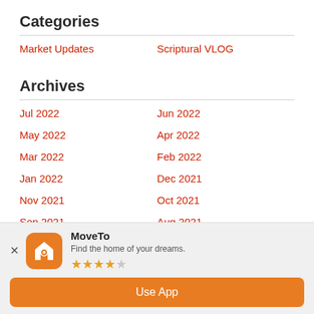Categories
Market Updates
Scriptural VLOG
Archives
Jul 2022
Jun 2022
May 2022
Apr 2022
Mar 2022
Feb 2022
Jan 2022
Dec 2021
Nov 2021
Oct 2021
Sep 2021
Aug 2021
Jul 2021
Jun 2021
[Figure (infographic): MoveTo app banner with orange house icon, 4-star rating, and 'Use App' button]